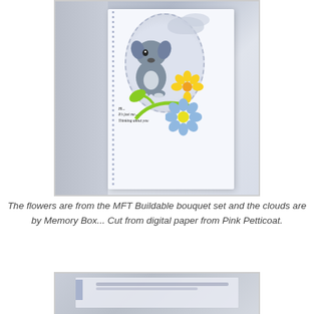[Figure (photo): A handmade greeting card photographed at an angle. The white card has a circular die-cut window with stitched border, featuring a gray puppy dog sitting among green stems, a yellow flower and a blue flower. Light blue clouds in the upper right. The card text reads: 'Hi... It's just me... Thinking about you'. Background is a light gray/blue wooden table surface. Left edge has a dotted border strip.]
The flowers are from the MFT Buildable bouquet set and the clouds are by Memory Box... Cut from digital paper from Pink Petticoat.
[Figure (photo): Partial view of another handmade card or project, partially cropped at the bottom of the page. Light blue/gray background with a white card panel visible, featuring a blue strip on the left edge and some handwritten or printed text.]